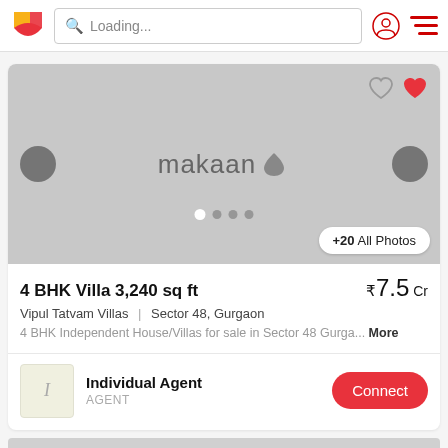Loading...
[Figure (screenshot): Makaan.com property listing image placeholder with logo, navigation arrows, image dots, and +20 All Photos button]
4 BHK Villa 3,240 sq ft   ₹7.5 Cr
Vipul Tatvam Villas  |  Sector 48, Gurgaon
4 BHK Independent House/Villas for sale in Sector 48 Gurga... More
Individual Agent   AGENT   Connect